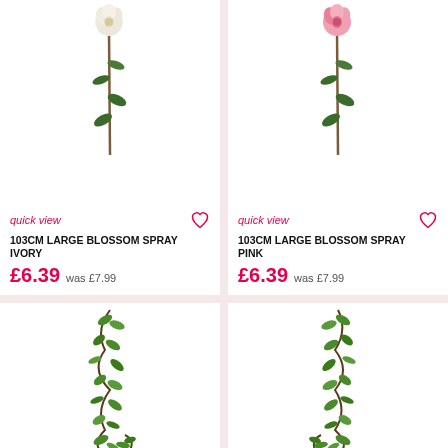[Figure (photo): Artificial ivory large blossom spray flower stem on white background]
quick view
103cm LARGE BLOSSOM SPRAY IVORY
£6.39 was £7.99
[Figure (photo): Artificial pink large blossom spray flower stem on white background]
quick view
103cm LARGE BLOSSOM SPRAY PINK
£6.39 was £7.99
[Figure (photo): Artificial green leaf garland on white background, left product]
[Figure (photo): Artificial green leaf garland on white background, right product]